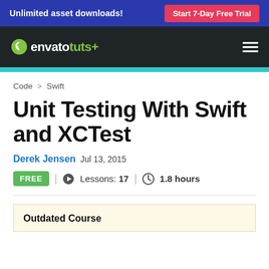Unlimited asset downloads! | Start 7-Day Free Trial
[Figure (logo): Envato Tuts+ logo with navigation bar on dark background]
Code > Swift
Unit Testing With Swift and XCTest
Derek Jensen  Jul 13, 2015
FREE | Lessons: 17 | 1.8 hours
Outdated Course